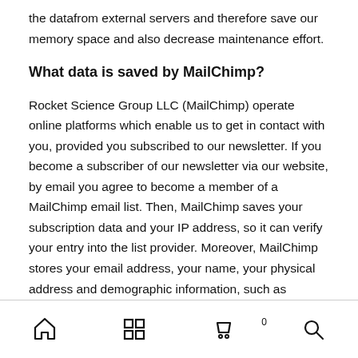the datafrom external servers and therefore save our memory space and also decrease maintenance effort.
What data is saved by MailChimp?
Rocket Science Group LLC (MailChimp) operate online platforms which enable us to get in contact with you, provided you subscribed to our newsletter. If you become a subscriber of our newsletter via our website, by email you agree to become a member of a MailChimp email list. Then, MailChimp saves your subscription data and your IP address, so it can verify your entry into the list provider. Moreover, MailChimp stores your email address, your name, your physical address and demographic information, such as language or location.
Navigation bar with home, grid, cart (0), search icons